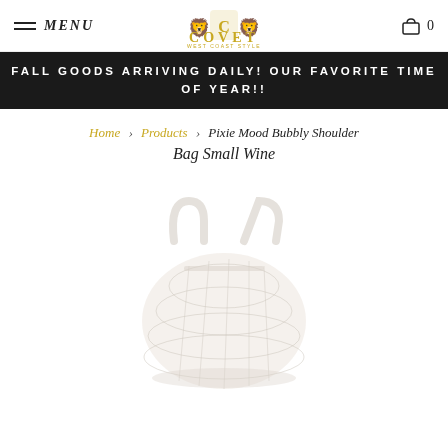MENU | COVET | 0
FALL GOODS ARRIVING DAILY! OUR FAVORITE TIME OF YEAR!!
Home > Products > Pixie Mood Bubbly Shoulder Bag Small Wine
Pixie Mood Bubbly Shoulder Bag Small Wine
[Figure (photo): Faded/washed-out product photo of a small shoulder bag (Pixie Mood Bubbly Shoulder Bag Small Wine), very light/overexposed, barely visible against white background.]